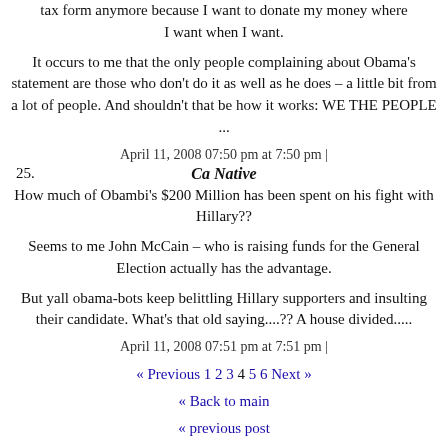tax form anymore because I want to donate my money where I want when I want.
It occurs to me that the only people complaining about Obama's statement are those who don't do it as well as he does – a little bit from a lot of people. And shouldn't that be how it works: WE THE PEOPLE ...
April 11, 2008 07:50 pm at 7:50 pm |
25. Ca Native
How much of Obambi's $200 Million has been spent on his fight with Hillary??
Seems to me John McCain – who is raising funds for the General Election actually has the advantage.
But yall obama-bots keep belittling Hillary supporters and insulting their candidate. What's that old saying....?? A house divided.....
April 11, 2008 07:51 pm at 7:51 pm |
« Previous 1 2 3 4 5 6 Next »
« Back to main
« previous post